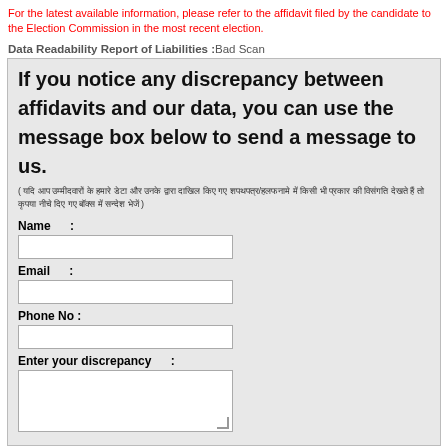For the latest available information, please refer to the affidavit filed by the candidate to the Election Commission in the most recent election.
Data Readability Report of Liabilities : Bad Scan
If you notice any discrepancy between affidavits and our data, you can use the message box below to send a message to us.
( यदि आप उम्मीदवारों के हमारे डेटा और उनके द्वारा दाखिल किए गए शपथपत्र/हलफनामे में किसी भी प्रकार की विसंगति देखते हैं तो कृपया नीचे दिए गए बॉक्स में सन्देश भेजें )
Name :
Email :
Phone No :
Enter your discrepancy :
Please enter the code shown below and click Submit.